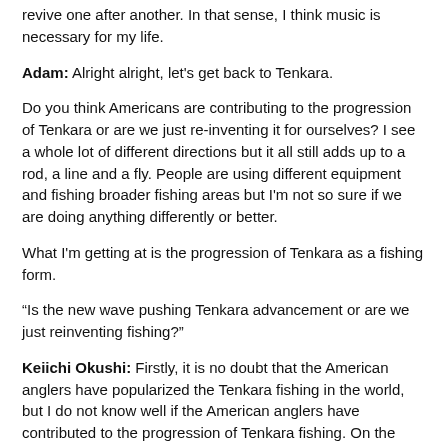revive one after another. In that sense, I think music is necessary for my life.
Adam: Alright alright, let's get back to Tenkara.
Do you think Americans are contributing to the progression of Tenkara or are we just re-inventing it for ourselves? I see a whole lot of different directions but it all still adds up to a rod, a line and a fly. People are using different equipment and fishing broader fishing areas but I'm not so sure if we are doing anything differently or better.
What I'm getting at is the progression of Tenkara as a fishing form.
“Is the new wave pushing Tenkara advancement or are we just reinventing fishing?”
Keiichi Okushi: Firstly, it is no doubt that the American anglers have popularized the Tenkara fishing in the world, but I do not know well if the American anglers have contributed to the progression of Tenkara fishing. On the